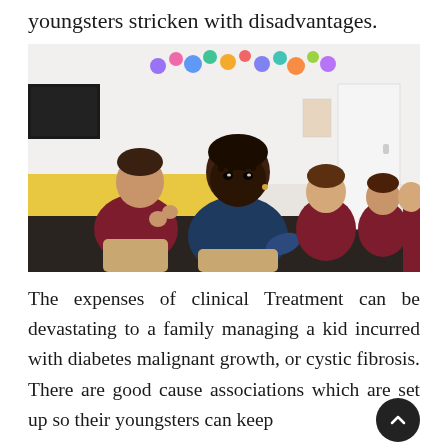youngsters stricken with disadvantages.
[Figure (photo): Children sitting on the floor of a classroom. A girl in a navy blue shirt is in the foreground smiling at the camera. Other children in maroon uniforms are visible in the background. Colorful circle decorations are on the white wall behind them.]
The expenses of clinical Treatment can be devastating to a family managing a kid incurred with diabetes malignant growth, or cystic fibrosis. There are good cause associations which are set up so their youngsters can keep